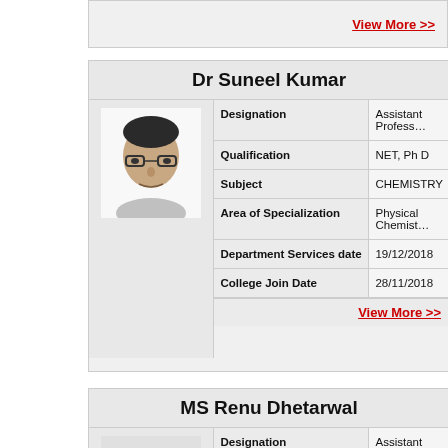View More >>
Dr Suneel Kumar
| Field | Value |
| --- | --- |
| Designation | Assistant Professor |
| Qualification | NET, Ph D |
| Subject | CHEMISTRY |
| Area of Specialization | Physical Chemistry |
| Department Services date | 19/12/2018 |
| College Join Date | 28/11/2018 |
View More >>
MS Renu Dhetarwal
| Field | Value |
| --- | --- |
| Designation | Assistant Professor |
| Qualification | M Sc, NET, SLET |
| Subject | CHEMISTRY |